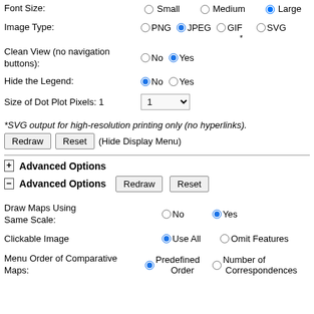Font Size: Small Medium Large (radio options)
Image Type: PNG JPEG GIF SVG
Clean View (no navigation buttons): No Yes
Hide the Legend: No Yes
Size of Dot Plot Pixels: 1 (dropdown)
*SVG output for high-resolution printing only (no hyperlinks).
Redraw Reset (Hide Display Menu)
+ Advanced Options
- Advanced Options Redraw Reset
Draw Maps Using Same Scale: No Yes
Clickable Image Use All Omit Features
Menu Order of Comparative Maps: Predefined Order Number of Correspondences